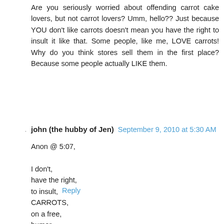Are you seriously worried about offending carrot cake lovers, but not carrot lovers? Umm, hello?? Just because YOU don't like carrots doesn't mean you have the right to insult it like that. Some people, like me, LOVE carrots! Why do you think stores sell them in the first place? Because some people actually LIKE them.
Reply
john (the hubby of Jen)  September 9, 2010 at 5:30 AM
Anon @ 5:07,

I don't,
have the right,
to insult,
CARROTS,
on a free,
humor,
blog?

Um...